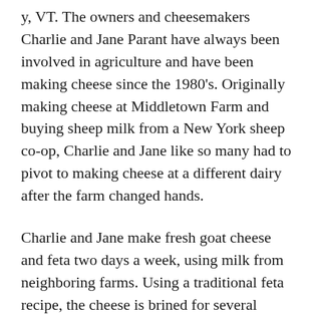y, VT. The owners and cheesemakers Charlie and Jane Parant have always been involved in agriculture and have been making cheese since the 1980's. Originally making cheese at Middletown Farm and buying sheep milk from a New York sheep co-op, Charlie and Jane like so many had to pivot to making cheese at a different dairy after the farm changed hands.
Charlie and Jane make fresh goat cheese and feta two days a week, using milk from neighboring farms. Using a traditional feta recipe, the cheese is brined for several months before being packaged in marinade for sale. West River Marinated Feta is made from pasteurized cow's milk; marinated in grape